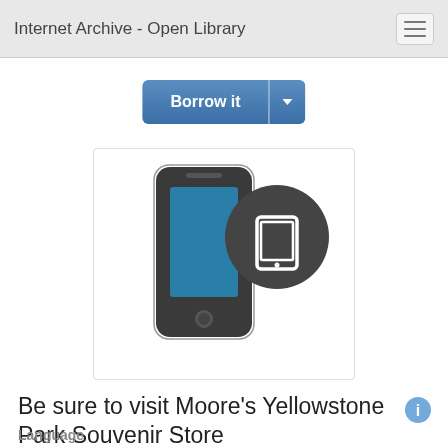Internet Archive - Open Library
[Figure (screenshot): A 'Borrow it' button with a dropdown arrow, styled in blue]
[Figure (illustration): A smartphone icon next to a dark circular tablet icon, representing mobile reading devices]
Be sure to visit Moore's Yellowstone Park Souvenir Store
Language